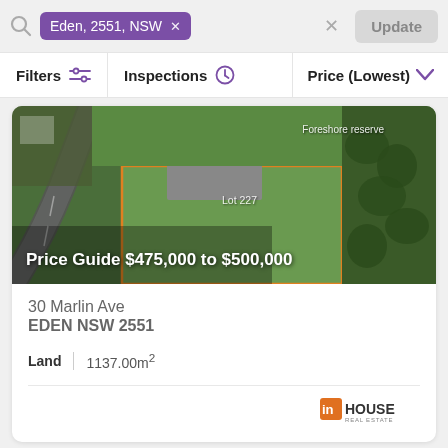Eden, 2551, NSW — Update
Filters   Inspections   Price (Lowest)
[Figure (photo): Aerial drone photo of a rural property lot (Lot 227) on Marlin Ave, Eden NSW, with green grass, a road, a house with grey roof, and bushland/foreshore reserve to the right. Orange boundary lines outline the lot. Text overlay: 'Price Guide $475,000 to $500,000', 'Lot 227', 'Foreshore reserve'.]
30 Marlin Ave
EDEN NSW 2551
Land  |  1137.00m²
[Figure (logo): inHOUSE Real Estate agency logo — orange 'in' box followed by 'HOUSE' in dark text, with 'REAL ESTATE' below in small text]
[Figure (photo): Partial view of a second property listing — coastal/water scene with blue sky and distant headland]